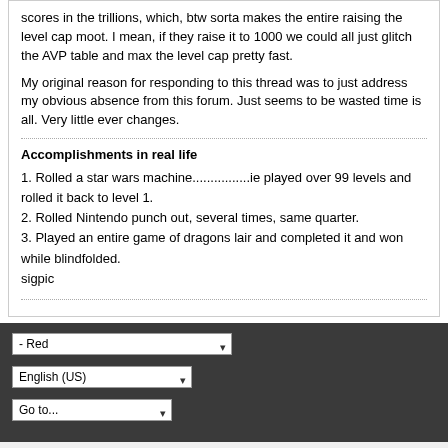scores in the trillions, which, btw sorta makes the entire raising the level cap moot. I mean, if they raise it to 1000 we could all just glitch the AVP table and max the level cap pretty fast.
My original reason for responding to this thread was to just address my obvious absence from this forum. Just seems to be wasted time is all. Very little ever changes.
Accomplishments in real life
1. Rolled a star wars machine................ie played over 99 levels and rolled it back to level 1.
2. Rolled Nintendo punch out, several times, same quarter.
3. Played an entire game of dragons lair and completed it and won while blindfolded.
sigpic
Powered by vBulletin® Version 5.6.9
Copyright © 2022 MH Sub I, LLC dba vBulletin. All rights reserved.
All times are GMT. This page was generated at 04:56 AM.